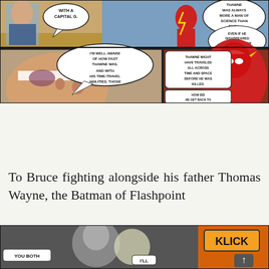[Figure (illustration): Comic book panels showing Batman (Bruce Wayne with bandaged head) and The Flash (in red suit with lightning). Speech bubbles: 'WITH A CAPITAL G.', 'THAWNE WAS ALWAYS MORE A MAN OF SCIENCE THAN FAITH.', 'EVEN IF HE DISAPPEARED FOR ONLY A FEW MOMENTS...WITH HIS SPEED--', 'I'M WELL AWARE OF HOW FAST THAWNE WAS. AND WITH HIS TIME-TRAVEL ABILITIES, THOSE MOMENTS FOR ME COULD HAVE BEEN DAYS FOR HIM BARRY.', 'THAWNE MIGHT HAVE TRAVELED ALL ACROSS TIME AND SPACE BEFORE HE WAS KILLED. HOW DID HE GET BACK TO THE CAVE? WAS HE FORCED? I KNOW THAWNE'S VIBRATIONAL PATTERNS... AND THERE'S SOMETHING WRONG WITH THEM BEYOND HIM BEING DEAD.']
To Bruce fighting alongside his father Thomas Wayne, the Batman of Flashpoint
[Figure (illustration): Bottom comic panel showing a character with 'KLICK' sound effect and text 'YOU BOTH' and 'I'LL' visible, with orange/blue coloring.]